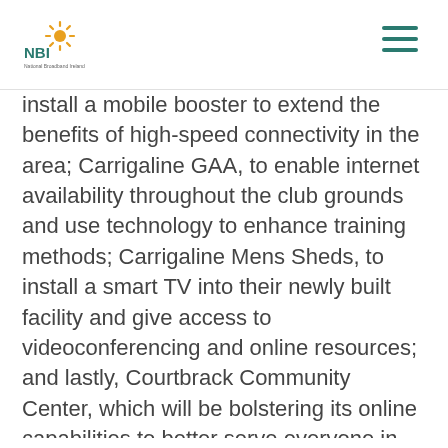NBI - National Broadband Ireland logo and navigation
install a mobile booster to extend the benefits of high-speed connectivity in the area; Carrigaline GAA, to enable internet availability throughout the club grounds and use technology to enhance training methods; Carrigaline Mens Sheds, to install a smart TV into their newly built facility and give access to videoconferencing and online resources; and lastly, Courtbrack Community Center, which will be bolstering its online capabilities to better serve everyone in the community as well as digitise some of its key functions including introducing online banking for the first time.